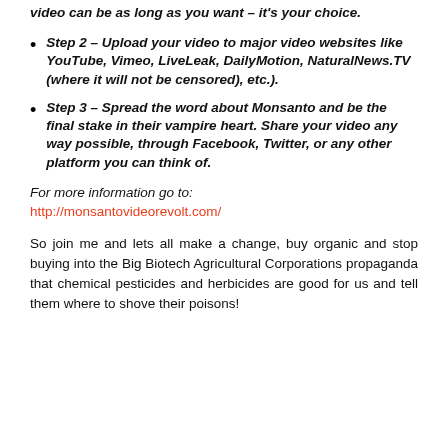video can be as long as you want – it's your choice.
Step 2 – Upload your video to major video websites like YouTube, Vimeo, LiveLeak, DailyMotion, NaturalNews.TV (where it will not be censored), etc.).
Step 3 – Spread the word about Monsanto and be the final stake in their vampire heart. Share your video any way possible, through Facebook, Twitter, or any other platform you can think of.
For more information go to:
http://monsantovideorevolt.com/
So join me and lets all make a change, buy organic and stop buying into the Big Biotech Agricultural Corporations propaganda that chemical pesticides and herbicides are good for us and tell them where to shove their poisons!